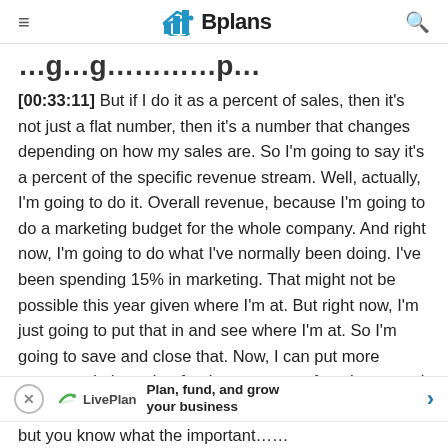≡  Bplans  🔍
…g…g…p…
[00:33:11] But if I do it as a percent of sales, then it's not just a flat number, then it's a number that changes depending on how my sales are. So I'm going to say it's a percent of the specific revenue stream. Well, actually, I'm going to do it. Overall revenue, because I'm going to do a marketing budget for the whole company. And right now, I'm going to do what I've normally been doing. I've been spending 15% in marketing. That might not be possible this year given where I'm at. But right now, I'm just going to put that in and see where I'm at. So I'm going to save and close that. Now, I can put more expenses in here, but for the purposes of getting to cash flow here, but you know what the important…
[Figure (other): LivePlan advertisement banner: Plan, fund, and grow your business]